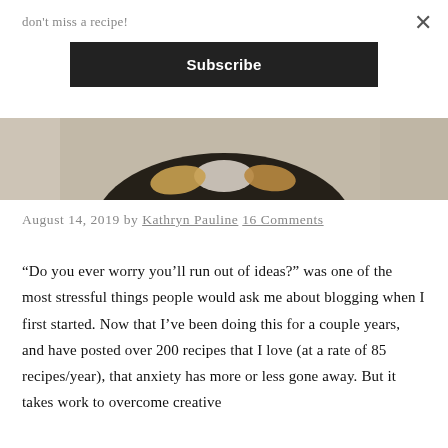don't miss a recipe!
Subscribe
[Figure (photo): Partial view of a dark bowl containing food with a white cream topping and golden-brown items, on a light background]
August 14, 2019 by Kathryn Pauline 16 Comments
“Do you ever worry you’ll run out of ideas?” was one of the most stressful things people would ask me about blogging when I first started. Now that I’ve been doing this for a couple years, and have posted over 200 recipes that I love (at a rate of 85 recipes/year), that anxiety has more or less gone away. But it takes work to overcome creative